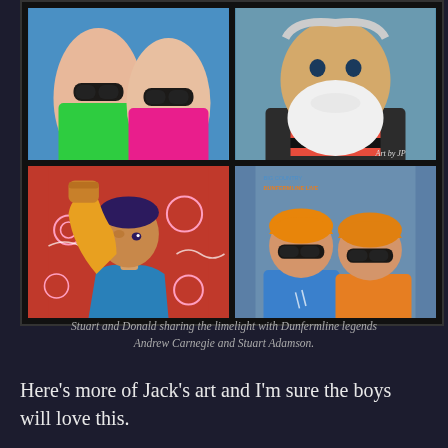[Figure (illustration): 2x2 grid of pop-art style paintings. Top-left: two figures in sunglasses with green and pink tops on blue background. Top-right: bearded elderly man with striped scarf, 'Art by JP' signature. Bottom-left: stylized figure with raised fist, blue top, red background with decorative swirls. Bottom-right: two figures with orange/blonde hair and sunglasses, one in blue top one in orange top.]
Stuart and Donald sharing the limelight with Dunfermline legends Andrew Carnegie and Stuart Adamson.
Here's more of Jack's art and I'm sure the boys will love this.